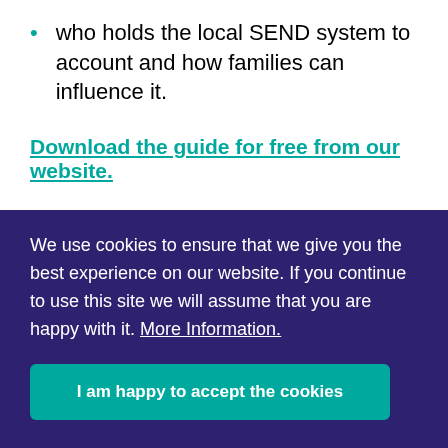who holds the local SEND system to account and how families can influence it.
Download the guide for free from our website.
We use cookies to ensure that we give you the best experience on our website. If you continue to use this site we will assume that you are happy with it. More Information.
I am happy to accept the cookies